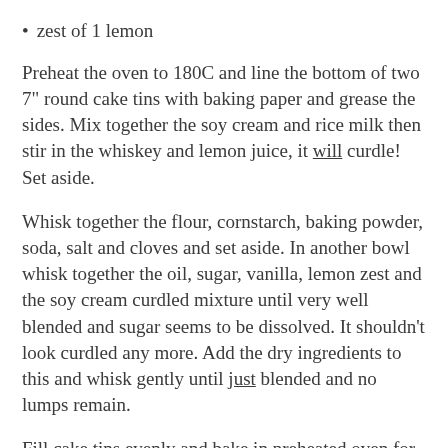zest of 1 lemon
Preheat the oven to 180C and line the bottom of two 7" round cake tins with baking paper and grease the sides. Mix together the soy cream and rice milk then stir in the whiskey and lemon juice, it will curdle! Set aside.
Whisk together the flour, cornstarch, baking powder, soda, salt and cloves and set aside. In another bowl whisk together the oil, sugar, vanilla, lemon zest and the soy cream curdled mixture until very well blended and sugar seems to be dissolved. It shouldn't look curdled any more. Add the dry ingredients to this and whisk gently until just blended and no lumps remain.
Fill cake tins evenly and bake in preheated oven for 25-30 minutes, or until golden and springy to the touch and a toothpick comes out clean. Leave to cool in the tins for half an hour then turn them out onto a